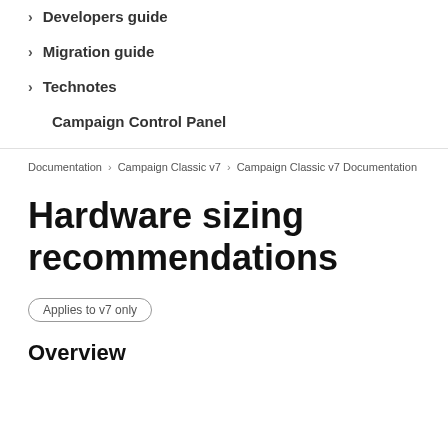Developers guide
Migration guide
Technotes
Campaign Control Panel
Documentation > Campaign Classic v7 > Campaign Classic v7 Documentation
Hardware sizing recommendations
Applies to v7 only
Overview